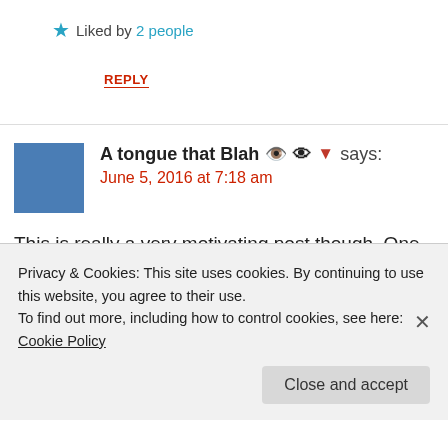★ Liked by 2 people
REPLY
A tongue that Blah 👅 says: June 5, 2016 at 7:18 am
This is really a very motivating post though. One should
Privacy & Cookies: This site uses cookies. By continuing to use this website, you agree to their use. To find out more, including how to control cookies, see here: Cookie Policy
Close and accept